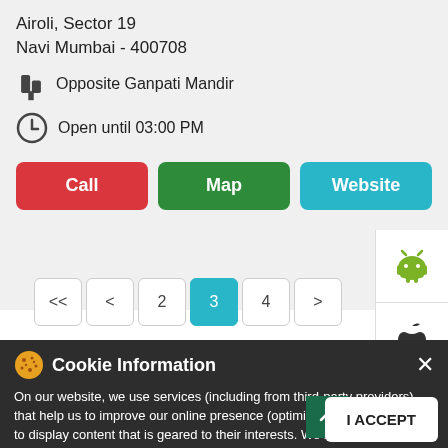Airoli, Sector 19
Navi Mumbai - 400708
Opposite Ganpati Mandir
Open until 03:00 PM
[Figure (screenshot): Three action buttons: Call (red), Map (green), Website (cyan/teal)]
[Figure (screenshot): Pagination controls: << < 2 [3] 4 > with page 3 highlighted in teal]
[Figure (screenshot): Android robot icon in white panel on right side]
[Figure (screenshot): Apple logo icon in white panel on right side]
Cookie Information
On our website, we use services (including from third-party providers) that help us to improve our online presence (optimization of website) and to display content that is geared to their interests. We need your consent before being able to use these services.
Powered by : SingleInterface
I ACCEPT